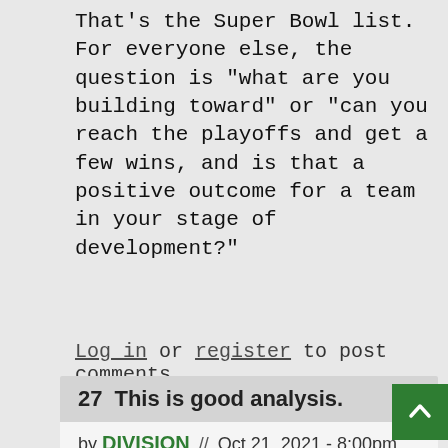That's the Super Bowl list. For everyone else, the question is "what are you building toward" or "can you reach the playoffs and get a few wins, and is that a positive outcome for a team in your stage of development?"
Log in or register to post comments
27  This is good analysis.
by DIVISION // Oct 21, 2021 - 8:00pm
Can't argue with it.